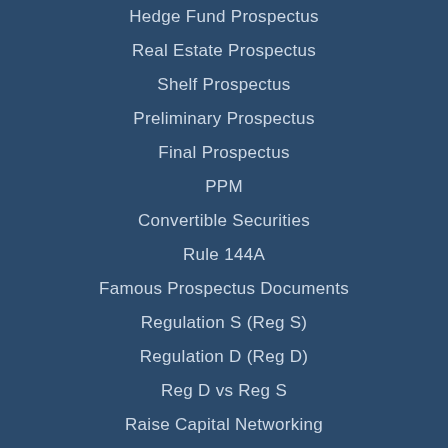Hedge Fund Prospectus
Real Estate Prospectus
Shelf Prospectus
Preliminary Prospectus
Final Prospectus
PPM
Convertible Securities
Rule 144A
Famous Prospectus Documents
Regulation S (Reg S)
Regulation D (Reg D)
Reg D vs Reg S
Raise Capital Networking
Accredited Investors